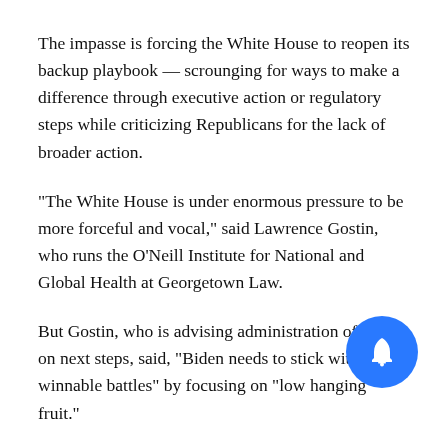The impasse is forcing the White House to reopen its backup playbook — scrounging for ways to make a difference through executive action or regulatory steps while criticizing Republicans for the lack of broader action.
“The White House is under enormous pressure to be more forceful and vocal,” said Lawrence Gostin, who runs the O’Neill Institute for National and Global Health at Georgetown Law.
But Gostin, who is advising administration officials on next steps, said, “Biden needs to stick with winnable battles” by focusing on “low hanging fruit.”
One of those ideas involves making abortion medication more accessible by mail. The Food and Drug Administration has